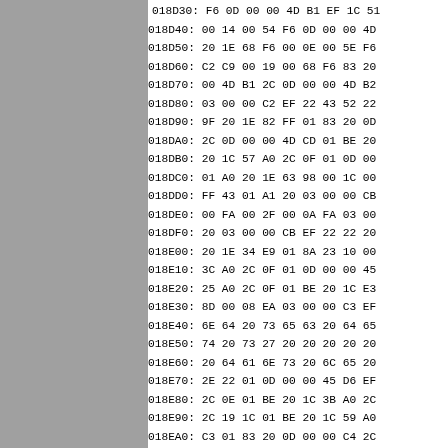[Figure (other): Gray panel on left side of page]
018D30: F6 0D 00 00 4D B1 EF 1C 51
018D40: 00 14 00 54 F6 0D 00 00 4D
018D50: 20 1E 68 F6 00 0E 00 5E F6
018D60: C2 C9 00 19 00 68 F6 83 20
018D70: 00 4D B1 2C 0D 00 00 4D B2
018D80: 03 00 00 C2 EF 22 43 52 22
018D90: 9F 20 1E 82 FF 01 83 20 0D
018DA0: 2C 0D 00 00 4D CD 01 BE 20
018DB0: 20 1C 57 A0 2C 0F 01 0D 00
018DC0: 01 A0 20 1E 63 98 00 1C 00
018DD0: FF 43 01 A1 20 03 00 00 CB
018DE0: 00 FA 00 2F 00 0A FA 03 00
018DF0: 20 03 00 00 CB EF 22 22 20
018E00: 20 1E 34 E9 01 8A 23 10 00
018E10: 3C A0 2C 0F 01 0D 00 00 45
018E20: 25 A0 2C 0F 01 BE 20 1C E3
018E30: 8D 00 08 EA 03 00 00 C3 EF
018E40: 6E 64 20 73 65 63 20 64 65
018E50: 74 20 73 27 20 20 20 20 20
018E60: 20 64 61 6E 73 20 6C 65 20
018E70: 2E 22 01 0D 00 00 45 D6 EF
018E80: 2C 0E 01 BE 20 1C 3B A0 2C
018E90: 2C 19 1C 01 BE 20 1C 59 A0
018EA0: C3 01 83 20 0D 00 00 C4 2C
018EB0: 4D CD F4 1A F5 0A 01 A0 20
018EC0: EA A1 20 0D 00 00 41 B0 EF
018ED0: 00 C3 EF 22 4D 6F 6E 20 41
018EE0: 20 63 68 65 72 69 2E 2E 2E
018EF0: 61 76 61 69 73 2E 2E 21 22
018F00: 01 07 20 C9 00 52 00 0B E4